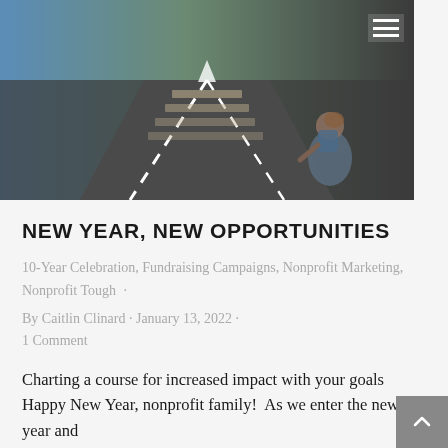[Figure (photo): Hero photo of a person with a backpack sitting at a road fork/path junction with dashed white lines on dark asphalt, blue sky on the left, viewed from behind. Hamburger menu icon in top-right corner.]
NEW YEAR, NEW OPPORTUNITIES
10-Year Celebration, Fundraising Campaigns, Nonprofit Marketing, Nonprofit Tough
By Caitlin Clinard · January 13, 2022 · 1 Comment
Charting a course for increased impact with your goals  Happy New Year, nonprofit family!  As we enter the new year and celebrate our 10th anniversary, And Oh...